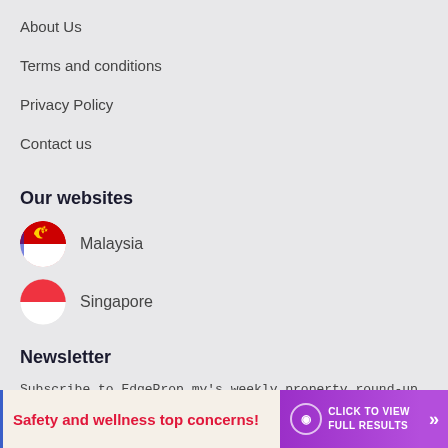About Us
Terms and conditions
Privacy Policy
Contact us
Our websites
Malaysia
Singapore
Newsletter
Subscribe to EdgeProp.my's weekly property round-up and stay on top of real estate news, latest listings and events.
Safety and wellness top concerns!
CLICK TO VIEW FULL RESULTS